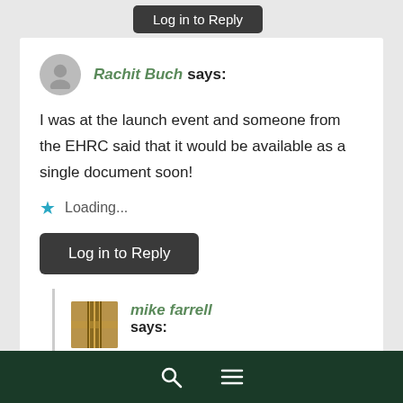Log in to Reply
Rachit Buch says:
I was at the launch event and someone from the EHRC said that it would be available as a single document soon!
Loading...
Log in to Reply
mike farrell says:
Excellent, look forward to the complete version.